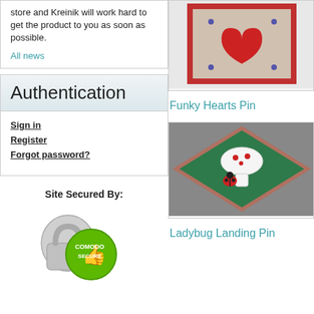store and Kreinik will work hard to get the product to you as soon as possible.
All news
Authentication
Sign in
Register
Forgot password?
Site Secured By:
[Figure (logo): Comodo Secure badge with padlock icon and thumbs up]
[Figure (photo): Funky Hearts Pin - beaded pin craft photo]
Funky Hearts Pin
[Figure (photo): Ladybug Landing Pin - beaded mushroom and ladybug pin on green canvas]
Ladybug Landing Pin